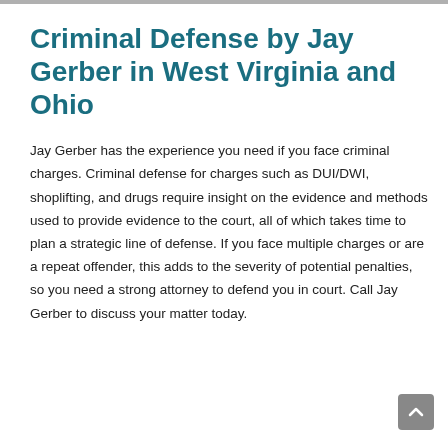Criminal Defense by Jay Gerber in West Virginia and Ohio
Jay Gerber has the experience you need if you face criminal charges. Criminal defense for charges such as DUI/DWI, shoplifting, and drugs require insight on the evidence and methods used to provide evidence to the court, all of which takes time to plan a strategic line of defense. If you face multiple charges or are a repeat offender, this adds to the severity of potential penalties, so you need a strong attorney to defend you in court. Call Jay Gerber to discuss your matter today.